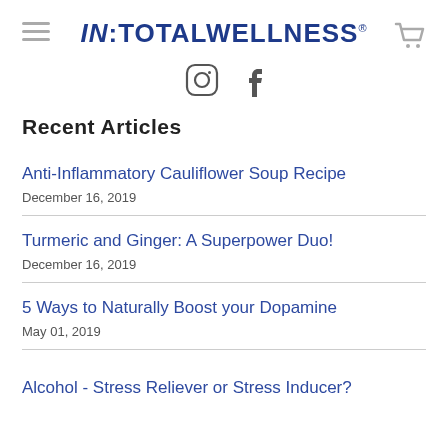IN:TOTALWELLNESS
[Figure (illustration): Instagram and Facebook social media icons]
Recent Articles
Anti-Inflammatory Cauliflower Soup Recipe
December 16, 2019
Turmeric and Ginger: A Superpower Duo!
December 16, 2019
5 Ways to Naturally Boost your Dopamine
May 01, 2019
Alcohol - Stress Reliever or Stress Inducer?